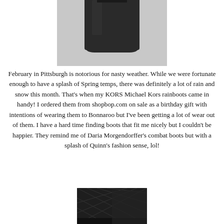[Figure (photo): Top portion of a dark gray/black boot shown against a light gray background, cropped at top]
February in Pittsburgh is notorious for nasty weather. While we were fortunate enough to have a splash of Spring temps, there was definitely a lot of rain and snow this month. That's when my KORS Michael Kors rainboots came in handy! I ordered them from shopbop.com on sale as a birthday gift with intentions of wearing them to Bonnaroo but I've been getting a lot of wear out of them. I have a hard time finding boots that fit me nicely but I couldn't be happier. They remind me of Daria Morgendorffer's combat boots but with a splash of Quinn's fashion sense, lol!
[Figure (photo): Bottom portion of dark patterned boots shown from the side, cropped at bottom of page]